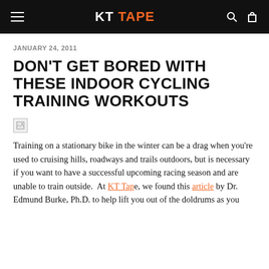KT TAPE
JANUARY 24, 2011
DON'T GET BORED WITH THESE INDOOR CYCLING TRAINING WORKOUTS
[Figure (photo): Broken/missing image placeholder]
Training on a stationary bike in the winter can be a drag when you're used to cruising hills, roadways and trails outdoors, but is necessary if you want to have a successful upcoming racing season and are unable to train outside.  At KT Tape, we found this article by Dr. Edmund Burke, Ph.D. to help lift you out of the doldrums as you